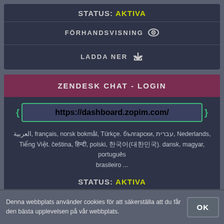STATUS: AKTIVA
FÖRHANDSVISNING
LADDA NER
ZENDESK CHAT - LOGIN
https://dashboard.zopim.com/
العربية, français, norsk bokmål, Türkçe. български, עברית, Nederlands, Tiếng Việt. čeština, हिन्दी, polski, 한국어(대한민국). dansk, magyar, português brasileiro ...
STATUS: AKTIVA
FÖRHANDSVISNING
Denna webbplats använder cookies för att säkerställa att du får den bästa upplevelsen på vår webbplats.